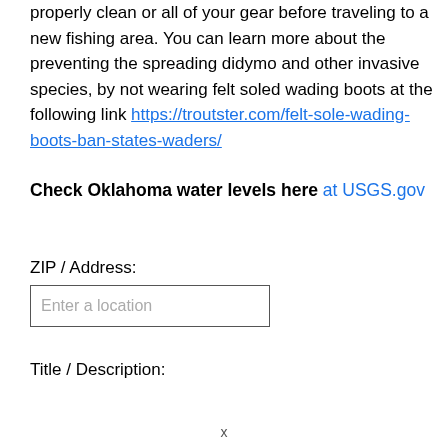properly clean or all of your gear before traveling to a new fishing area. You can learn more about the preventing the spreading didymo and other invasive species, by not wearing felt soled wading boots at the following link https://troutster.com/felt-sole-wading-boots-ban-states-waders/
Check Oklahoma water levels here at USGS.gov
ZIP / Address:
Enter a location
Title / Description: